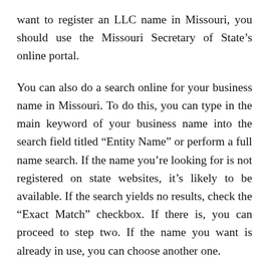want to register an LLC name in Missouri, you should use the Missouri Secretary of State’s online portal.
You can also do a search online for your business name in Missouri. To do this, you can type in the main keyword of your business name into the search field titled “Entity Name” or perform a full name search. If the name you’re looking for is not registered on state websites, it’s likely to be available. If the search yields no results, check the “Exact Match” checkbox. If there is, you can proceed to step two. If the name you want is already in use, you can choose another one.
If you don’t find the exact name that you’re looking for, you can use the Business Name Database maintained by the Missouri Secretary of State. It is a good idea to also